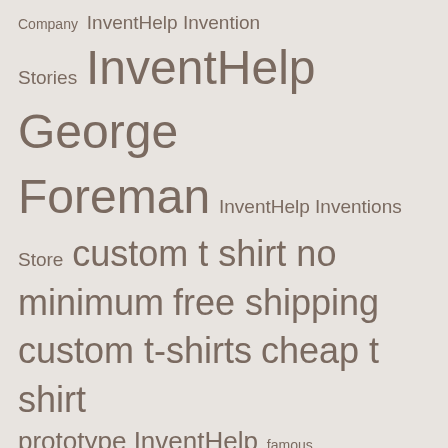[Figure (infographic): Tag cloud with keywords of varying font sizes on a beige/taupe background. Terms include: Company, InventHelp Invention Stories, InventHelp George Foreman, InventHelp Inventions Store, custom t shirt no minimum, free shipping, custom t-shirts, cheap t shirt, prototype InventHelp, famous inventors, slot, game slots, slot game, online casino, black lives matter, black lives matter utah, black lives matter upcoming events, vintage t shirts bulk, vintage t shirts etsy, vintage t shirts wholesale, bakery equipment list, bakery equipment]